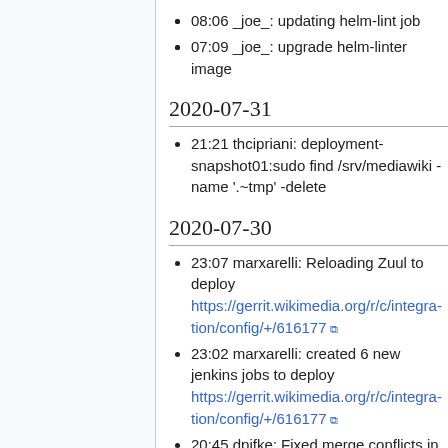08:06 _joe_: updating helm-lint job
07:09 _joe_: upgrade helm-linter image
2020-07-31
21:21 thcipriani: deployment-snapshot01:sudo find /srv/mediawiki -name '.~tmp' -delete
2020-07-30
23:07 marxarelli: Reloading Zuul to deploy https://gerrit.wikimedia.org/r/c/integration/config/+/616177
23:02 marxarelli: created 6 new jenkins jobs to deploy https://gerrit.wikimedia.org/r/c/integration/config/+/616177
20:45 dpifke: Fixed merge conflicts in